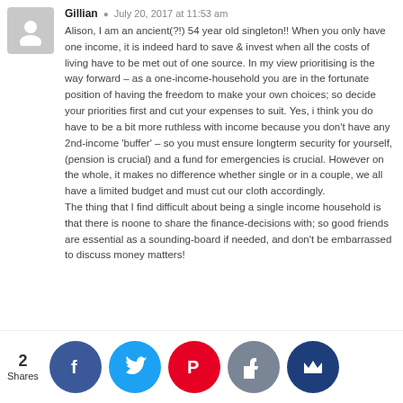Gillian  July 20, 2017 at 11:53 am
Alison, I am an ancient(?!) 54 year old singleton!! When you only have one income, it is indeed hard to save & invest when all the costs of living have to be met out of one source. In my view prioritising is the way forward – as a one-income-household you are in the fortunate position of having the freedom to make your own choices; so decide your priorities first and cut your expenses to suit. Yes, i think you do have to be a bit more ruthless with income because you don't have any 2nd-income 'buffer' – so you must ensure longterm security for yourself, (pension is crucial) and a fund for emergencies is crucial. However on the whole, it makes no difference whether single or in a couple, we all have a limited budget and must cut our cloth accordingly.
The thing that I find difficult about being a single income household is that there is noone to share the finance-decisions with; so good friends are essential as a sounding-board if needed, and don't be embarrassed to discuss money matters!
2 Shares